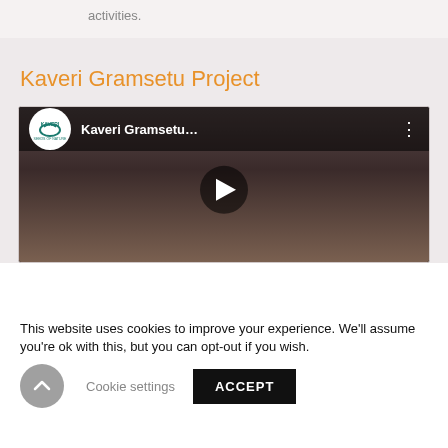activities.
Kaveri Gramsetu Project
[Figure (screenshot): YouTube video thumbnail for 'Kaveri Gramsetu...' with Kaveri logo, play button, and person's face in background]
This website uses cookies to improve your experience. We'll assume you're ok with this, but you can opt-out if you wish.
Cookie settings
ACCEPT